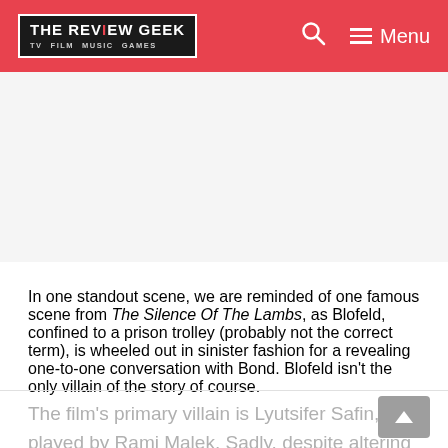THE REVIEW GEEK — TV FILM MUSIC GAMES | Menu
[Figure (other): Advertisement area (blank/white space)]
In one standout scene, we are reminded of one famous scene from The Silence Of The Lambs, as Blofeld, confined to a prison trolley (probably not the correct term), is wheeled out in sinister fashion for a revealing one-to-one conversation with Bond. Blofeld isn't the only villain of the story of course.
The film's primary villain is Lyutsifer Safin, as played by Rami Malek. Sadly, despite altering the course of